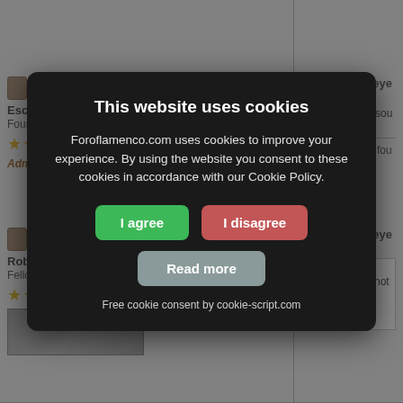[Figure (screenshot): Forum page background showing user posts with icons, usernames (Escribano - Founder/Administrator, RobF - Fellow), post titles starting with RE: Birdseye m..., partially visible behind cookie consent overlay]
[Figure (screenshot): Cookie consent modal dialog with dark background. Title: 'This website uses cookies'. Body text: 'Foroflamenco.com uses cookies to improve your experience. By using the website you consent to these cookies in accordance with our Cookie Policy.' Three buttons: 'I agree' (green), 'I disagree' (red/pink), 'Read more' (gray). Footer: 'Free cookie consent by cookie-script.com']